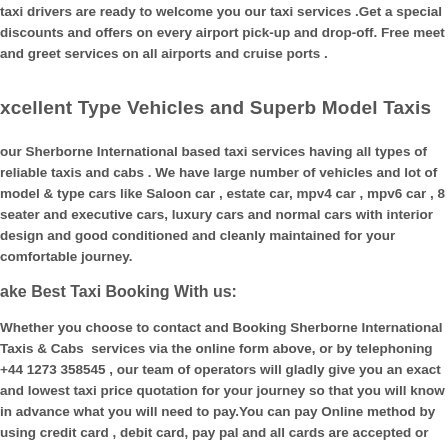taxi drivers are ready to welcome you our taxi services .Get a special discounts and offers on every airport pick-up and drop-off. Free meet and greet services on all airports and cruise ports .
Xcellent Type Vehicles and Superb Model Taxis
Our Sherborne International based taxi services having all types of reliable taxis and cabs . We have large number of vehicles and lot of model & type cars like Saloon car , estate car, mpv4 car , mpv6 car , 8 seater and executive cars, luxury cars and normal cars with interior design and good conditioned and cleanly maintained for your comfortable journey.
Make Best Taxi Booking With us:
Whether you choose to contact  and Booking Sherborne International Taxis & Cabs  services via the online form above, or by telephoning +44 1273 358545 , our team of operators will gladly give you an exact and lowest taxi price quotation for your journey so that you will know in advance what you will need to pay.You can pay Online method by using credit card , debit card, pay pal and all cards are accepted or you can give cash to the driver .We have 24 hours "Online Live Chat support " for our passengers you can ask taxi fare queries and you can make a